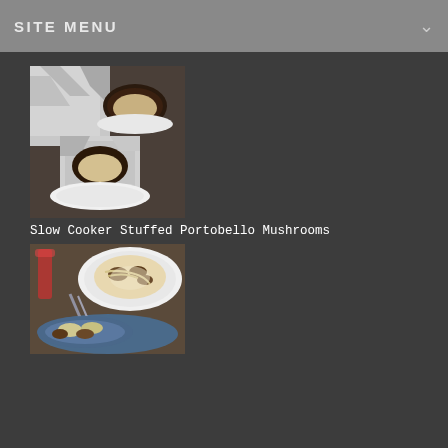SITE MENU
[Figure (photo): Photo of slow cooker stuffed portobello mushrooms wrapped in aluminum foil on a plate, top-down view showing cheesy filling]
Slow Cooker Stuffed Portobello Mushrooms
[Figure (photo): Photo of a pasta dish with mushrooms and cream sauce on a plate, with a wine glass visible in the background]